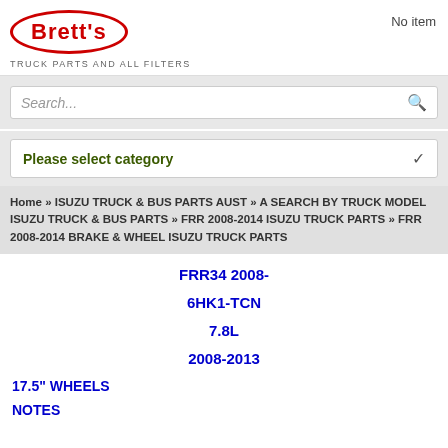[Figure (logo): Brett's logo — red oval outline with 'Brett's' in bold red text inside, and tagline 'TRUCK PARTS AND ALL FILTERS' below]
No item
Search...
Please select category
Home » ISUZU TRUCK & BUS PARTS AUST » A SEARCH BY TRUCK MODEL ISUZU TRUCK & BUS PARTS » FRR 2008-2014 ISUZU TRUCK PARTS » FRR 2008-2014 BRAKE & WHEEL ISUZU TRUCK PARTS
FRR34 2008-
6HK1-TCN
7.8L
2008-2013
17.5" WHEELS
NOTES